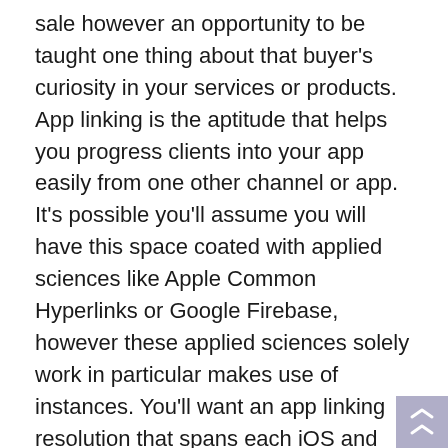sale however an opportunity to be taught one thing about that buyer's curiosity in your services or products. App linking is the aptitude that helps you progress clients into your app easily from one other channel or app.  It's possible you'll assume you will have this space coated with applied sciences like Apple Common Hyperlinks or Google Firebase, however these applied sciences solely work in particular makes use of instances. You'll want an app linking resolution that spans each iOS and Android and one that may open your app from social media and different apps.

Search for a codeless app linking resolution designed for entrepreneurs who're the precise customers. Your marketing campaign hyperlinks ought to be capable to route your guests to the fitting app or platform primarily based on the machine clicking. One other key requirement